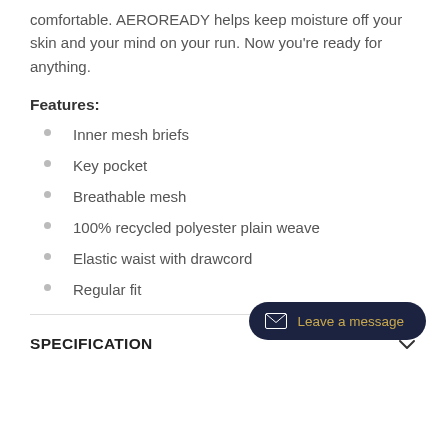comfortable. AEROREADY helps keep moisture off your skin and your mind on your run. Now you're ready for anything.
Features:
Inner mesh briefs
Key pocket
Breathable mesh
100% recycled polyester plain weave
Elastic waist with drawcord
Regular fit
SPECIFICATION